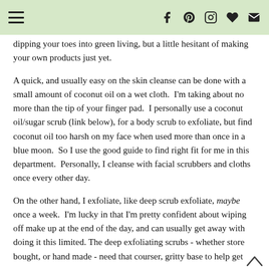[hamburger menu icon] [facebook icon] [pinterest icon] [instagram icon] [heart icon] [email icon]
dipping your toes into green living, but a little hesitant of making your own products just yet.
A quick, and usually easy on the skin cleanse can be done with a small amount of coconut oil on a wet cloth.  I'm taking about no more than the tip of your finger pad.  I personally use a coconut oil/sugar scrub (link below), for a body scrub to exfoliate, but find coconut oil too harsh on my face when used more than once in a blue moon.  So I use the good guide to find right fit for me in this department.  Personally, I cleanse with facial scrubbers and cloths once every other day.
On the other hand, I exfoliate, like deep scrub exfoliate, maybe once a week.  I'm lucky in that I'm pretty confident about wiping off make up at the end of the day, and can usually get away with doing it this limited. The deep exfoliating scrubs - whether store bought, or hand made - need that courser, gritty base to help get